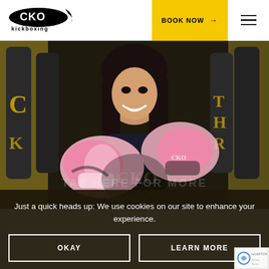[Figure (logo): CKO Kickboxing logo — black oval with CKO text and kickboxing wordmark below]
BOOK NOW →
[Figure (photo): Smiling woman with long dark hair wearing pink and white boxing gloves, posed in a gym with yellow and black heavy bags in the background]
TAP HERE FOR MORE
SPECIALS
Just a quick heads up: We use cookies on our site to enhance your experience.
OKAY
LEARN MORE